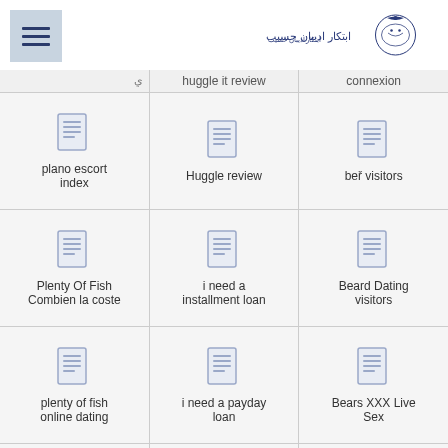[Figure (logo): Arabic script logo with decorative circular emblem on the right side]
| Col1 | Col2 | Col3 |
| --- | --- | --- |
| (partial) | huggle it review | connexion |
| plano escort index | Huggle review | beř visitors |
| Plenty Of Fish Combien la coste | i need a installment loan | Beard Dating visitors |
| plenty of fish online dating | i need a payday loan | Bears XXX Live Sex |
| plenty of fish | i need a payday loan immediately | Bears XXX Web Cams Chat |